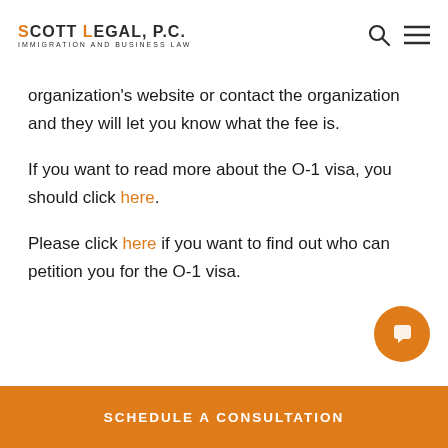SCOTT LEGAL, P.C. IMMIGRATION AND BUSINESS LAW
organization's website or contact the organization and they will let you know what the fee is.
If you want to read more about the O-1 visa, you should click here.
Please click here if you want to find out who can petition you for the O-1 visa.
SCHEDULE A CONSULTATION